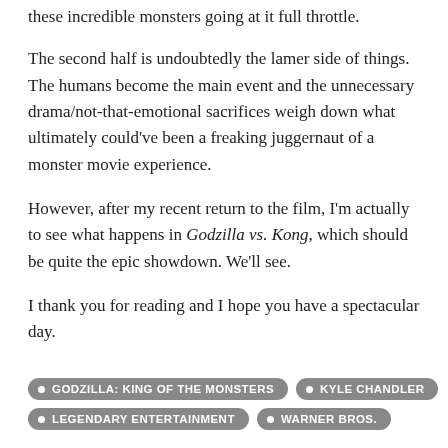these incredible monsters going at it full throttle.
The second half is undoubtedly the lamer side of things. The humans become the main event and the unnecessary drama/not-that-emotional sacrifices weigh down what ultimately could've been a freaking juggernaut of a monster movie experience.
However, after my recent return to the film, I'm actually to see what happens in Godzilla vs. Kong, which should be quite the epic showdown. We'll see.
I thank you for reading and I hope you have a spectacular day.
GODZILLA: KING OF THE MONSTERS
KYLE CHANDLER
LEGENDARY ENTERTAINMENT
WARNER BROS.